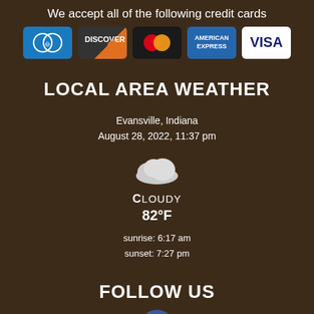We accept all of the following credit cards
[Figure (illustration): Five credit card logos: Diners Club, Discover, Mastercard, American Express, Visa]
LOCAL AREA WEATHER
Evansville, Indiana
August 28, 2022, 11:37 pm
[Figure (illustration): Cloud weather icon indicating cloudy conditions]
CLOUDY
82°F
sunrise: 6:17 am
sunset: 7:27 pm
FOLLOW US
[Figure (logo): Facebook logo icon in blue circle]